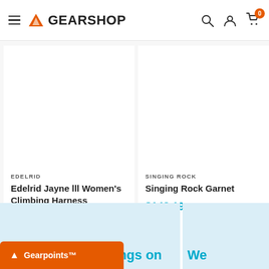GEARSHOP — navigation header with hamburger menu, logo, search, account, and cart icons
EDELRID
Edelrid Jayne lll Women's Climbing Harness
$116.99  $129.99
SINGING ROCK
Singing Rock Garnet
$148.19  $155.99
als and huge savings on
We
Gearpoints™